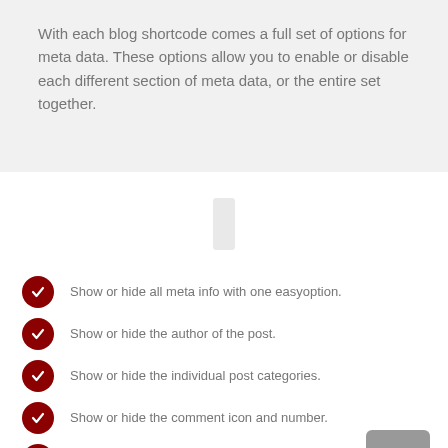With each blog shortcode comes a full set of options for meta data. These options allow you to enable or disable each different section of meta data, or the entire set together.
[Figure (other): Scroll indicator / decorative vertical rectangle in light gray]
Show or hide all meta info with one easyoption.
Show or hide the author of the post.
Show or hide the individual post categories.
Show or hide the comment icon and number.
Show or hide the date of the post.